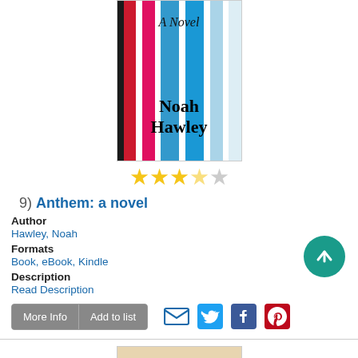[Figure (illustration): Book cover of 'Anthem: a novel' by Noah Hawley, featuring colorful vertical stripes in red, pink, blue and white, with the text 'A Novel' and 'Noah Hawley' on the cover.]
[Figure (other): 3.5 out of 5 star rating displayed as yellow stars]
9)  Anthem: a novel
Author
Hawley, Noah
Formats
Book, eBook, Kindle
Description
Read Description
[Figure (other): More Info and Add to list buttons, plus email, Twitter, Facebook, Pinterest social share icons]
[Figure (illustration): Partial book cover showing 'THE LAST' text at bottom of page]